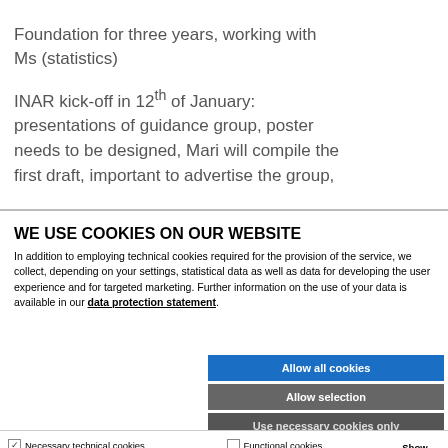Foundation for three years, working with Ms (statistics)
INAR kick-off in 12th of January: presentations of guidance group, poster needs to be designed, Mari will compile the first draft, important to advertise the group,
WE USE COOKIES ON OUR WEBSITE
In addition to employing technical cookies required for the provision of the service, we collect, depending on your settings, statistical data as well as data for developing the user experience and for targeted marketing. Further information on the use of your data is available in our data protection statement.
Allow all cookies
Allow selection
Use necessary cookies only
Necessary technical cookies  Functional cookies  Statistics cookies  Marketing cookies  Show details